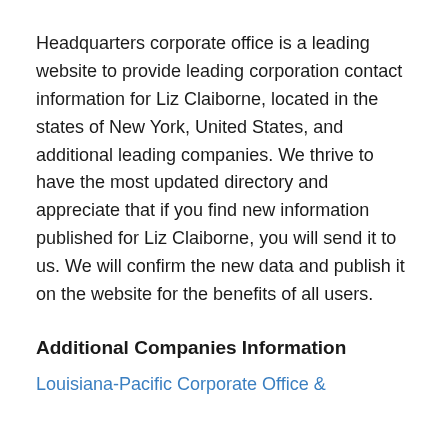Headquarters corporate office is a leading website to provide leading corporation contact information for Liz Claiborne, located in the states of New York, United States, and additional leading companies. We thrive to have the most updated directory and appreciate that if you find new information published for Liz Claiborne, you will send it to us. We will confirm the new data and publish it on the website for the benefits of all users.
Additional Companies Information
Louisiana-Pacific Corporate Office &